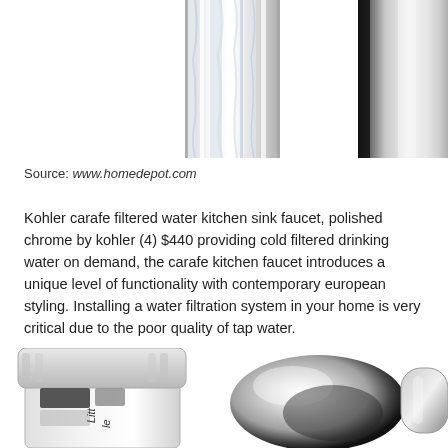[Figure (photo): Top left: partial view of a chrome water faucet with glass-like streaks, cropped at top. Top right: partial view of a polished chrome cylindrical faucet piece, cropped at top.]
Source: www.homedepot.com
Kohler carafe filtered water kitchen sink faucet, polished chrome by kohler (4) $440 providing cold filtered drinking water on demand, the carafe kitchen faucet introduces a unique level of functionality with contemporary european styling. Installing a water filtration system in your home is very critical due to the poor quality of tap water.
[Figure (photo): Bottom left: a water filter cartridge labeled 'Little' with a clear plastic cap and black/grey filter media visible. Bottom right: a polished chrome faucet head/spout with a curved teardrop shape.]